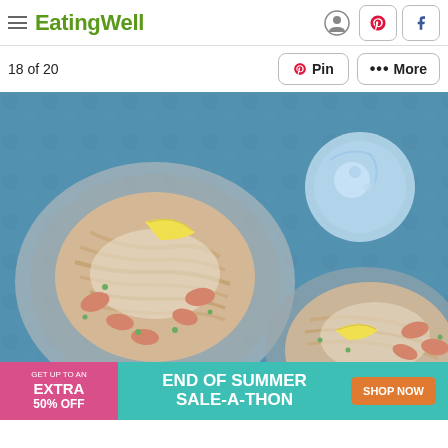EatingWell
18 of 20
[Figure (photo): Two plates of fettuccine pasta with shrimp, peas, and cream sauce garnished with lemon wedges and herbs on a blue textured table, with a glass of water]
[Figure (infographic): Advertisement banner: GET UP TO AN EXTRA 50% OFF — END OF SUMMER SALE-A-THON — SHOP NOW]